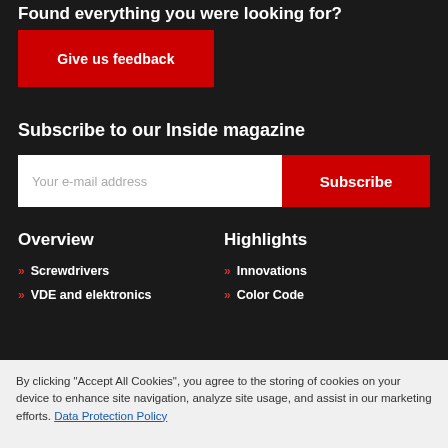Found everything you were looking for?
Give us feedback
Subscribe to our Inside magazine
Your e-mail address | Subscribe
Overview
Highlights
>> Screwdrivers
>> Innovations
>> VDE and elektronics
>> Color Code
By clicking "Accept All Cookies", you agree to the storing of cookies on your device to enhance site navigation, analyze site usage, and assist in our marketing efforts. Data Protection Policy